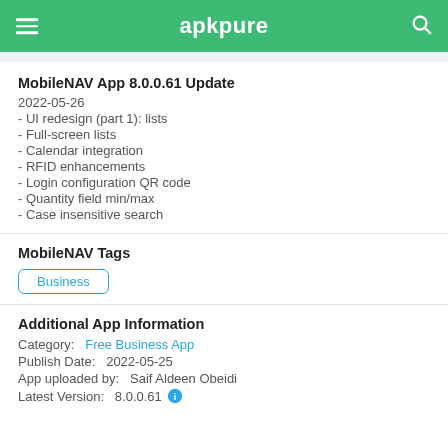apkpure
MobileNAV App 8.0.0.61 Update
2022-05-26
- UI redesign (part 1): lists
- Full-screen lists
- Calendar integration
- RFID enhancements
- Login configuration QR code
- Quantity field min/max
- Case insensitive search
MobileNAV Tags
Business
Additional App Information
Category:   Free Business App
Publish Date:   2022-05-25
App uploaded by:   Saif Aldeen Obeidi
Latest Version:   8.0.0.61